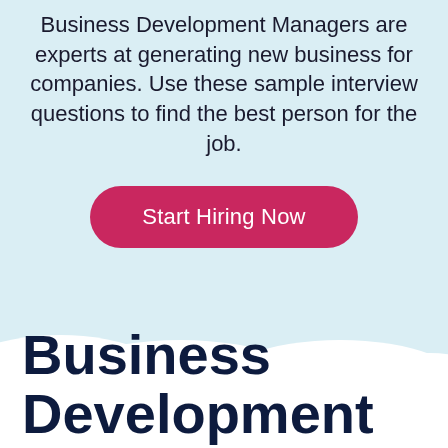Business Development Managers are experts at generating new business for companies. Use these sample interview questions to find the best person for the job.
[Figure (illustration): Pink rounded-rectangle button labeled 'Start Hiring Now' on a light blue background with white cloud decorations at the bottom.]
Business Development